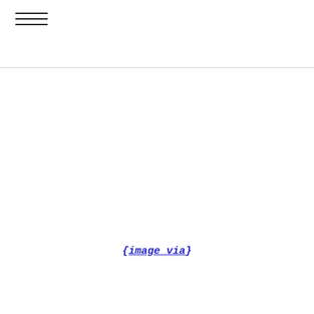≡ (hamburger menu icon)
{image via}